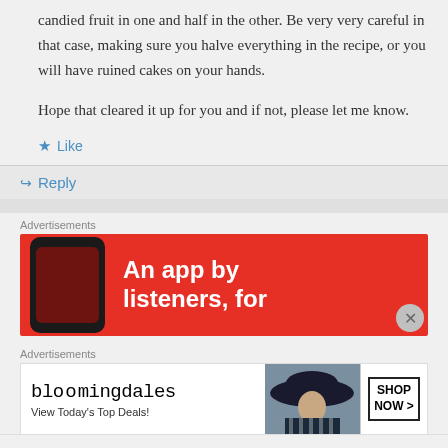candied fruit in one and half in the other. Be very very careful in that case, making sure you halve everything in the recipe, or you will have ruined cakes on your hands.
Hope that cleared it up for you and if not, please let me know.
★ Like
↪ Reply
Advertisements
[Figure (screenshot): Red advertisement banner showing a smartphone and text 'An app by listeners, for']
Advertisements
[Figure (screenshot): Bloomingdale's advertisement banner with text 'View Today's Top Deals!' and 'SHOP NOW >']